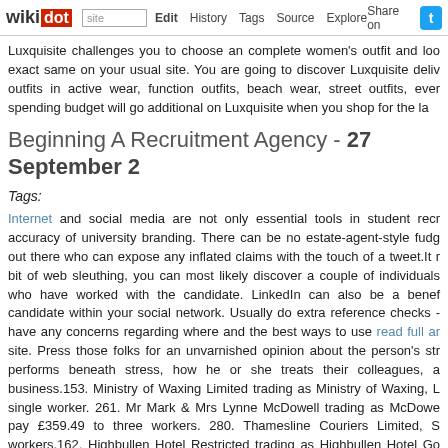wikidot | site Edit History Tags Source Explore Share on [Twitter]
Luxquisite challenges you to choose an complete women's outfit andloo exact same on your usual site. You are going to discover Luxquisite deliv outfits in active wear, function outfits, beach wear, street outfits, ever spending budget will go additional on Luxquisite when you shop for the la
Beginning A Recruitment Agency - 27 September 2
Tags:
Internet and social media are not only essential tools in student recr accuracy of university branding. There can be no estate-agent-style fudg out there who can expose any inflated claims with the touch of a tweet.It r bit of web sleuthing, you can most likely discover a couple of individuals who have worked with the candidate. LinkedIn can also be a benef candidate within your social network. Usually do extra reference checks - have any concerns regarding where and the best ways to use read full ar site. Press those folks for an unvarnished opinion about the person's str performs beneath stress, how he or she treats their colleagues, a business.153. Ministry of Waxing Limited trading as Ministry of Waxing, L single worker. 261. Mr Mark & Mrs Lynne McDowell trading as McDowe pay £359.49 to three workers. 280. Thamesline Couriers Limited, S workers.162. Highbullen Hotel Restricted trading as Highbullen Hotel Go spend £907.23 to eight workers. 265. Complete Home Restaurants L Woking GU21, failed to pay £342.30 to a single worker. 354. McGrad £113.33 to 1 worker.203. Aber House Ltd trading as S http://lawanna21r980625.soup.io/post/663699716/Guidelines-Web-page- single worker. 198. Wykeham Staff Solutions Limited, Spalding PE12, fa Perco Job 1 Ltd trading as Subway, Durham DH1 5EJ, failed to pay £1